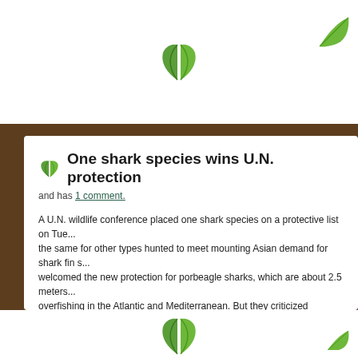One shark species wins U.N. protection
and has 1 comment.
A U.N. wildlife conference placed one shark species on a protective list on Tue... the same for other types hunted to meet mounting Asian demand for shark fin s... welcomed the new protection for porbeagle sharks, which are about 2.5 meters... overfishing in the Atlantic and Mediterranean. But they criticized delegates at th... International trade in Endangered Species (CITES) for failing to restrict trade in... "Politics and economics trumped science, especially on marine conservation is... director of global shark conservation at Pew Environment Group. The global sh... $310 million in 2005, according to Traffic, a wildlife trade monitoring group. Sha... as a result of overfishing.
Categories:
News